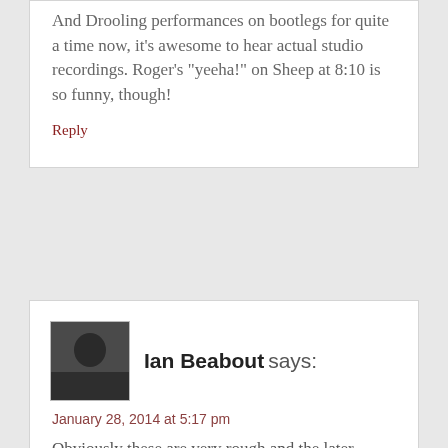And Drooling performances on bootlegs for quite a time now, it’s awesome to hear actual studio recordings. Roger’s “yeeha!” on Sheep at 8:10 is so funny, though!
Reply
Ian Beabout says:
January 28, 2014 at 5:17 pm
Obviously these are very rough and the later versions are more